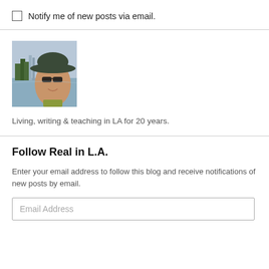Notify me of new posts via email.
[Figure (photo): Profile photo of a person wearing a wide-brimmed hat and sunglasses, outdoors near water with city skyline in background]
Living, writing & teaching in LA for 20 years.
Follow Real in L.A.
Enter your email address to follow this blog and receive notifications of new posts by email.
Email Address